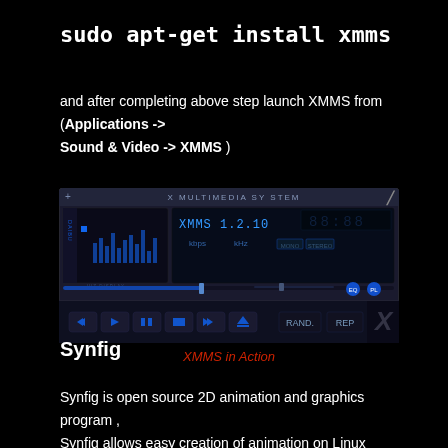sudo apt-get install xmms
and after completing above step launch XMMS from (Applications -> Sound & Video -> XMMS )
[Figure (screenshot): Screenshot of XMMS (X Multimedia System) media player application showing the player interface with playback controls, equalizer, playlist buttons, and version XMMS 1.2.10]
XMMS in Action
Synfig
Synfig is open source 2D animation and graphics program , Synfig allows easy creation of animation on Linux platform . It